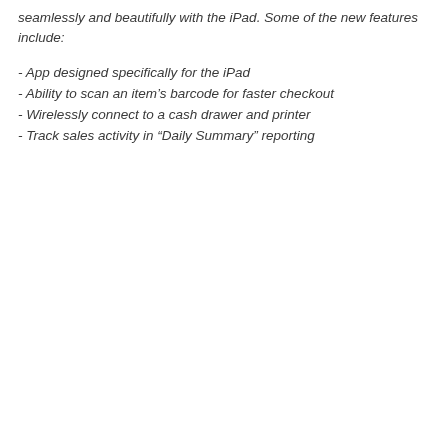seamlessly and beautifully with the iPad. Some of the new features include:
- App designed specifically for the iPad
- Ability to scan an item's barcode for faster checkout
- Wirelessly connect to a cash drawer and printer
- Track sales activity in “Daily Summary” reporting